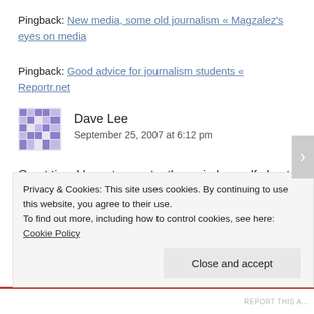Pingback: New media, some old journalism « Magzalez's eyes on media
Pingback: Good advice for journalism students « Reportr.net
Dave Lee
September 25, 2007 at 6:12 pm
Great tips. I have to constantly remind myself about number six.
Privacy & Cookies: This site uses cookies. By continuing to use this website, you agree to their use.
To find out more, including how to control cookies, see here: Cookie Policy
Close and accept